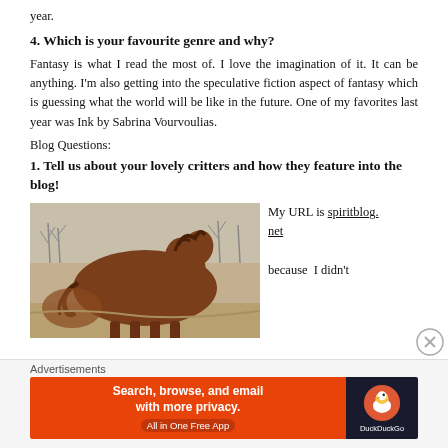year.
4. Which is your favourite genre and why?
Fantasy is what I read the most of. I love the imagination of it. It can be anything. I'm also getting into the speculative fiction aspect of fantasy which is guessing what the world will be like in the future. One of my favorites last year was Ink by Sabrina Vourvoulias.
Blog Questions:
1. Tell us about your lovely critters and how they feature into the blog!
[Figure (photo): A brown horse/pony photographed from the side, grazing outdoors with bare trees in the background.]
My URL is spiritblog.net because I didn't
Advertisements
Search, browse, and email with more privacy. All in One Free App
DuckDuckGo